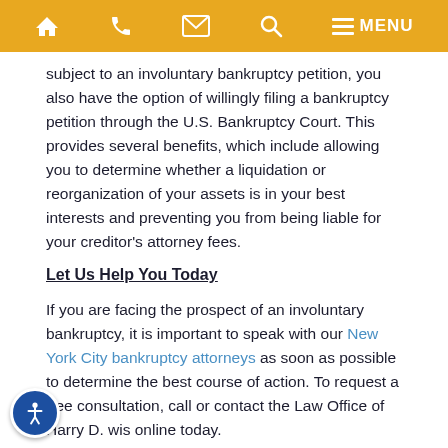Navigation bar with home, phone, email, search, and menu icons
subject to an involuntary bankruptcy petition, you also have the option of willingly filing a bankruptcy petition through the U.S. Bankruptcy Court. This provides several benefits, which include allowing you to determine whether a liquidation or reorganization of your assets is in your best interests and preventing you from being liable for your creditor's attorney fees.
Let Us Help You Today
If you are facing the prospect of an involuntary bankruptcy, it is important to speak with our New York City bankruptcy attorneys as soon as possible to determine the best course of action. To request a free consultation, call or contact the Law Office of Harry D. wis online today.